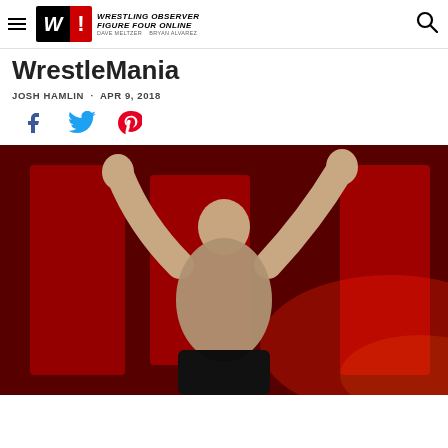Wrestling Observer Figure Four Online — Dave Meltzer · Bryan Alvarez
WrestleMania
JOSH HAMLIN · APR 9, 2018
[Figure (other): Social share icons: Facebook, Twitter, Pinterest]
[Figure (photo): A muscular wrestler (Brock Lesnar) posing with arms raised in front of the WWE RAW red logo background]